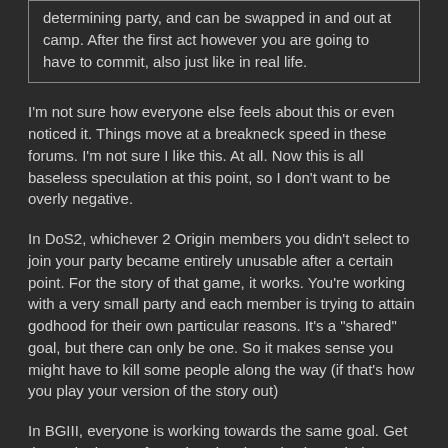determining party, and can be swapped in and out at camp. After the first act however you are going to have to commit, also just like in real life.
I'm not sure how everyone else feels about this or even noticed it. Things move at a breakneck speed in these forums. I'm not sure I like this. At all. Now this is all baseless speculation at this point, so I don't want to be overly negative.
In DoS2, whichever 2 Origin members you didn't select to join your party became entirely unusable after a certain point. For the story of that game, it works. You're working with a very small party and each member is trying to attain godhood for their own particular reasons. It's a "shared" goal, but there can only be one. So it makes sense you might have to kill some people along the way (if that's how you play your version of the story out)
In BGIII, everyone is working towards the same goal. Get that tadpole out of your heads. They also have their own goals and motivations. But in BGI/II it was very much the same. Even though there was no camp per se, you could release a party member at any particular point and recruit someone else to see their story. A play through could be as long or as short as you wanted, depending on how many companions stories you got involved with.
Based on the wording from Larian, it leads me to believe that anyone